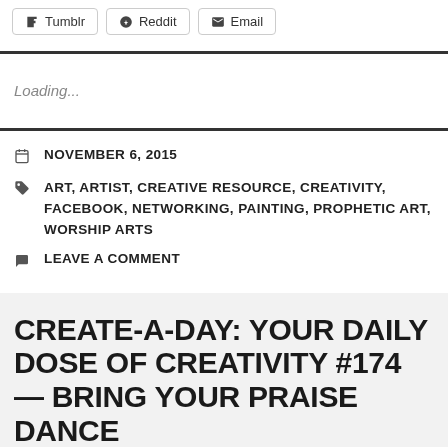Tumblr
Reddit
Email
Loading...
NOVEMBER 6, 2015
ART, ARTIST, CREATIVE RESOURCE, CREATIVITY, FACEBOOK, NETWORKING, PAINTING, PROPHETIC ART, WORSHIP ARTS
LEAVE A COMMENT
CREATE-A-DAY: YOUR DAILY DOSE OF CREATIVITY #174 — BRING YOUR PRAISE DANCE